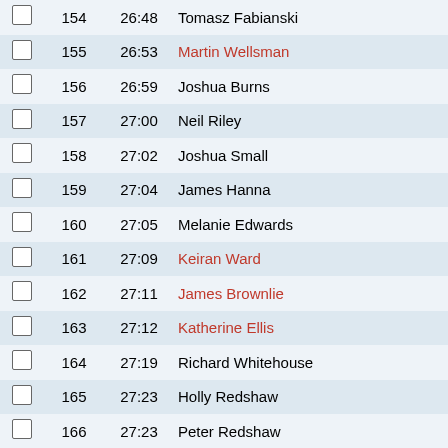|  | Pos | Time | Name | Badge |
| --- | --- | --- | --- | --- |
|  | 154 | 26:48 | Tomasz Fabianski |  |
|  | 155 | 26:53 | Martin Wellsman | SB |
|  | 156 | 26:59 | Joshua Burns |  |
|  | 157 | 27:00 | Neil Riley |  |
|  | 158 | 27:02 | Joshua Small |  |
|  | 159 | 27:04 | James Hanna |  |
|  | 160 | 27:05 | Melanie Edwards |  |
|  | 161 | 27:09 | Keiran Ward | PB |
|  | 162 | 27:11 | James Brownlie |  |
|  | 163 | 27:12 | Katherine Ellis |  |
|  | 164 | 27:19 | Richard Whitehouse |  |
|  | 165 | 27:23 | Holly Redshaw |  |
|  | 166 | 27:23 | Peter Redshaw |  |
|  | 167 | 27:24 | Adam Shephard |  |
|  | 168 | 27:28 | Sylv Ross |  |
|  | 169 | 27:32 | Maddy Lewis |  |
|  | 170 | 27:37 | Ray Worrell |  |
|  | 171 | 27:38 | Unknown Athlete |  |
|  | 172 | 27:41 | Abi Hindmarch |  |
|  | 173 | 27:45 | Kiaron Lad |  |